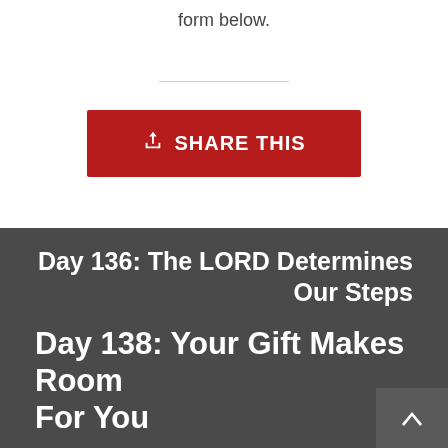form below.
[Figure (other): Red Share This button with upload icon]
Day 136: The LORD Determines Our Steps
Day 138: Your Gift Makes Room For You